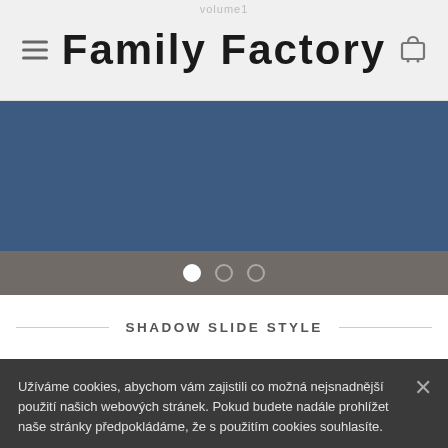volume1
Family Factory
[Figure (screenshot): Dark blue/navy hero slider banner area]
[Figure (infographic): Carousel navigation dots: one filled white (active), two outlined]
SHADOW SLIDE STYLE
Užíváme cookies, abychom vám zajistili co možná nejsnadnější použití našich webových stránek. Pokud budete nadále prohlížet naše stránky předpokládáme, že s použitím cookies souhlasíte.
SOUHLASÍM